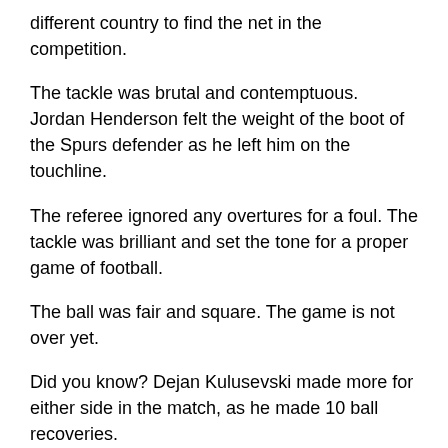different country to find the net in the competition.
The tackle was brutal and contemptuous. Jordan Henderson felt the weight of the boot of the Spurs defender as he left him on the touchline.
The referee ignored any overtures for a foul. The tackle was brilliant and set the tone for a proper game of football.
The ball was fair and square. The game is not over yet.
Did you know? Dejan Kulusevski made more for either side in the match, as he made 10 ball recoveries.
It is very easy when your position in the league is safe and there is no threat of the league being thrown into turmoil. Wolves have not won a football match in the last four games, and they have had their minds on the Costa del Sol.